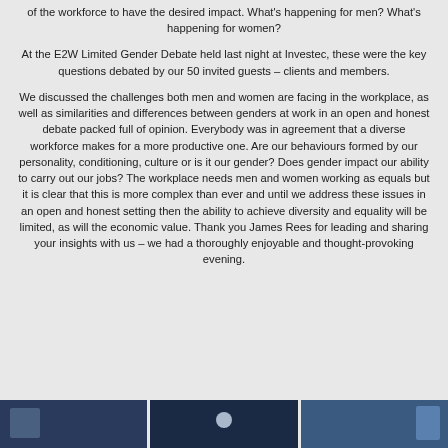of the workforce to have the desired impact. What's happening for men? What's happening for women?
At the E2W Limited Gender Debate held last night at Investec, these were the key questions debated by our 50 invited guests – clients and members.
We discussed the challenges both men and women are facing in the workplace, as well as similarities and differences between genders at work in an open and honest debate packed full of opinion. Everybody was in agreement that a diverse workforce makes for a more productive one. Are our behaviours formed by our personality, conditioning, culture or is it our gender? Does gender impact our ability to carry out our jobs? The workplace needs men and women working as equals but it is clear that this is more complex than ever and until we address these issues in an open and honest setting then the ability to achieve diversity and equality will be limited, as will the economic value. Thank you James Rees for leading and sharing your insights with us – we had a thoroughly enjoyable and thought-provoking evening.
[Figure (photo): Three side-by-side photos from the event, shown as a horizontal strip at the bottom of the page.]